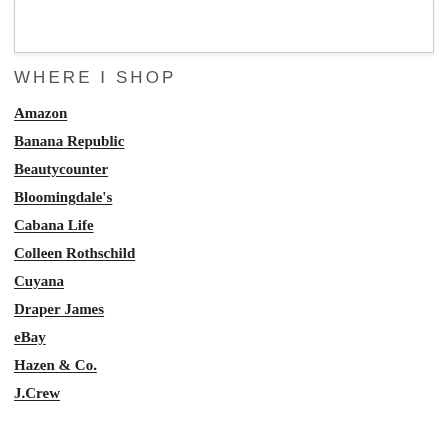WHERE I SHOP
Amazon
Banana Republic
Beautycounter
Bloomingdale's
Cabana Life
Colleen Rothschild
Cuyana
Draper James
eBay
Hazen & Co.
J.Crew